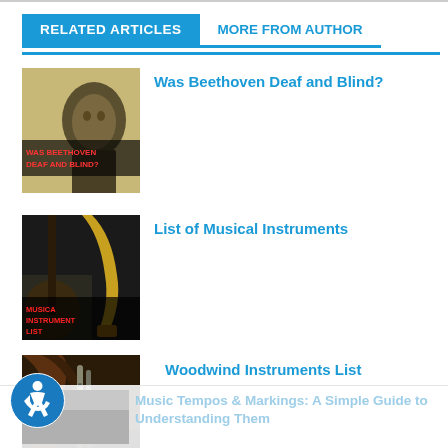RELATED ARTICLES
MORE FROM AUTHOR
Was Beethoven Deaf and Blind?
[Figure (photo): Thumbnail image for article 'Was Beethoven Deaf and Blind?' showing a bust of Beethoven with text overlay]
List of Musical Instruments
[Figure (photo): Thumbnail image for 'List of Musical Instruments' showing guitar and saxophone]
Woodwind Instruments List
[Figure (photo): Thumbnail image for 'Woodwind Instruments List' showing dark woodwind instruments]
Music Tempos & Markings: A Simple Guide to Understanding Them
[Figure (photo): Partial thumbnail for Music Tempos article]
[Figure (logo): Accessibility icon — blue circle with wheelchair user symbol]